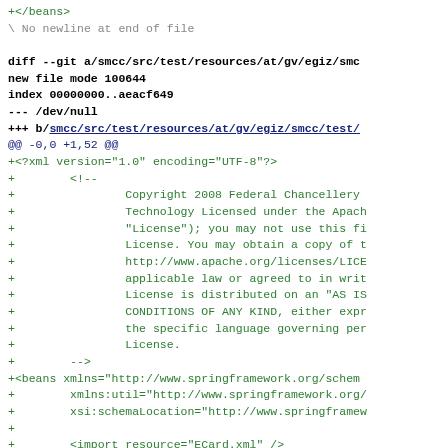+ </beans>
\ No newline at end of file
diff --git a/smcc/src/test/resources/at/gv/egiz/smc
new file mode 100644
index 00000000..aeacf649
--- /dev/null
+++ b/smcc/src/test/resources/at/gv/egiz/smcc/test/
@@ -0,0 +1,52 @@
+<?xml version="1.0" encoding="UTF-8"?>
+        <!--
+                Copyright 2008 Federal Chancellery
+                Technology Licensed under the Apach
+                "License"); you may not use this fi
+                License. You may obtain a copy of t
+                http://www.apache.org/licenses/LICE
+                applicable law or agreed to in writ
+                License is distributed on an "AS IS
+                CONDITIONS OF ANY KIND, either expr
+                the specific language governing per
+                License.
+        -->
+<beans xmlns="http://www.springframework.org/schem
+        xmlns:util="http://www.springframework.org/
+        xsi:schemaLocation="http://www.springframew
+
+        <import resource="ECard.xml" />
+
+        <bean name="applSichereSignatur" class="at.
+                <property name="cardChannel" ref="c
+                <property name="aid" value="d0:40: